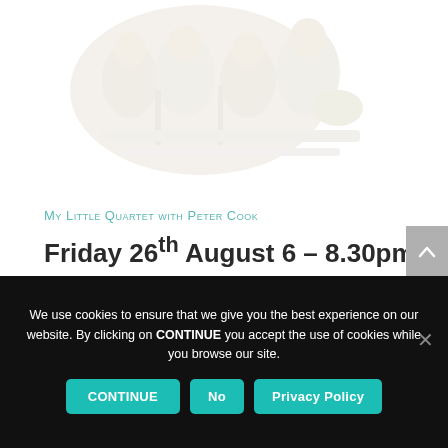[Figure (illustration): Faded/light coloured illustration of musicians or a band, serving as a decorative header image for the event listing.]
My Little Quartet with Peter Cook
Friday 26th August 6 – 8.30pm
We use cookies to ensure that we give you the best experience on our website. By clicking on CONTINUE you accept the use of cookies while you browse our site.